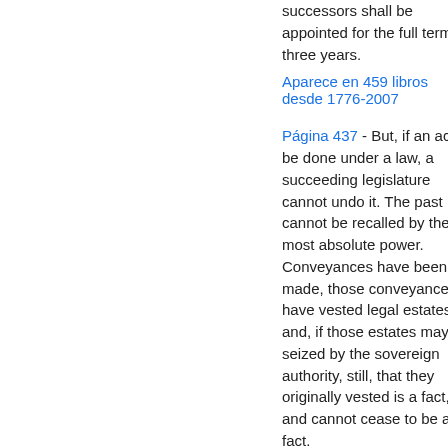successors shall be appointed for the full term of three years.
Aparece en 459 libros desde 1776-2007
Página 437 - But, if an act be done under a law, a succeeding legislature cannot undo it. The past cannot be recalled by the most absolute power. Conveyances have been made, those conveyances have vested legal estates, and, if those estates may be seized by the sovereign authority, still, that they originally vested is a fact, and cannot cease to be a fact.
Aparece en 119 libros